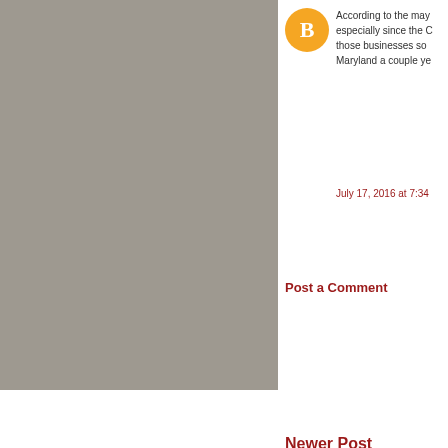According to the may especially since the C those businesses so Maryland a couple ye
July 17, 2016 at 7:34
Post a Comment
Newer Post